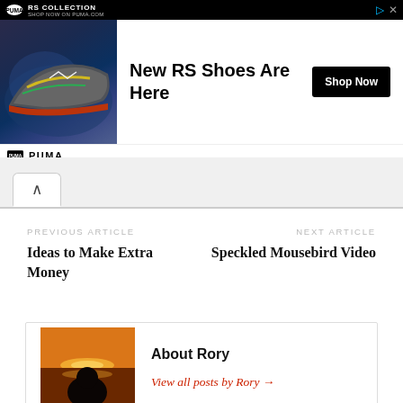[Figure (other): PUMA RS Collection advertisement banner with sneaker image, headline 'New RS Shoes Are Here', and 'Shop Now' button]
[Figure (other): Browser tab bar with up-chevron active tab]
PREVIOUS ARTICLE
Ideas to Make Extra Money
NEXT ARTICLE
Speckled Mousebird Video
About Rory
View all posts by Rory →